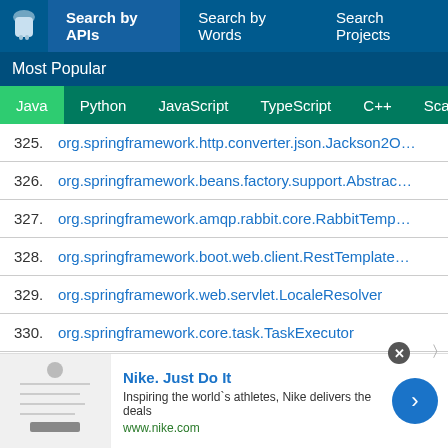Search by APIs | Search by Words | Search Projects
Most Popular
Java | Python | JavaScript | TypeScript | C++ | Scala
325. org.springframework.http.converter.json.Jackson2O...
326. org.springframework.beans.factory.support.Abstrac...
327. org.springframework.amqp.rabbit.core.RabbitTemp...
328. org.springframework.boot.web.client.RestTemplate...
329. org.springframework.web.servlet.LocaleResolver
330. org.springframework.core.task.TaskExecutor
331. org.springframework.http.converter.StringHttpMess...
332. org.springframework.web.servlet.HandlerException...
[Figure (screenshot): Nike advertisement banner: 'Nike. Just Do It - Inspiring the world's athletes, Nike delivers the deals - www.nike.com' with a close button and forward arrow]